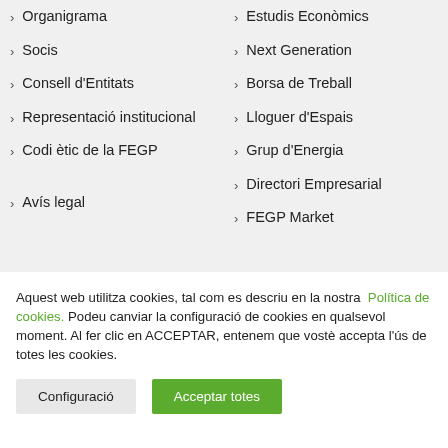Organigrama
Estudis Econòmics
Socis
Next Generation
Consell d'Entitats
Borsa de Treball
Representació institucional
Lloguer d'Espais
Grup d'Energia
Codi ètic de la FEGP
Directori Empresarial
FEGP Market
Avís legal
Aquest web utilitza cookies, tal com es descriu en la nostra Política de cookies. Podeu canviar la configuració de cookies en qualsevol moment. Al fer clic en ACCEPTAR, entenem que vostè accepta l'ús de totes les cookies.
Configuració
Acceptar totes